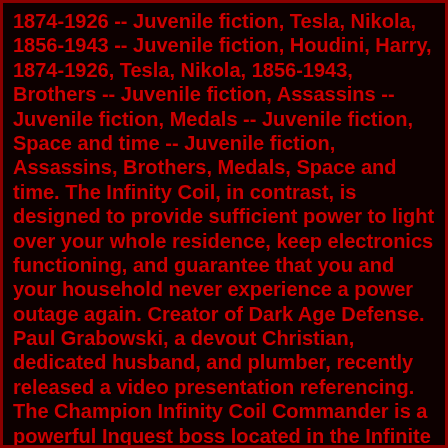1874-1926 -- Juvenile fiction, Tesla, Nikola, 1856-1943 -- Juvenile fiction, Houdini, Harry, 1874-1926, Tesla, Nikola, 1856-1943, Brothers -- Juvenile fiction, Assassins -- Juvenile fiction, Medals -- Juvenile fiction, Space and time -- Juvenile fiction, Assassins, Brothers, Medals, Space and time. The Infinity Coil, in contrast, is designed to provide sufficient power to light over your whole residence, keep electronics functioning, and guarantee that you and your household never experience a power outage again. Creator of Dark Age Defense. Paul Grabowski, a devout Christian, dedicated husband, and plumber, recently released a video presentation referencing. The Champion Infinity Coil Commander is a powerful Inquest boss located in the Infinite Coil Reactor. Killing him is the final objective of Toil for the Coil to open the entrance to the Crucible of Eternity. This device is based on the Hubbard Coil, a free energy device which was build by Alfred M. Hubbard in the early part of the 20th century. Infinity Energy cares about adding value to our customer's lives – and no material thing is more valuable than your